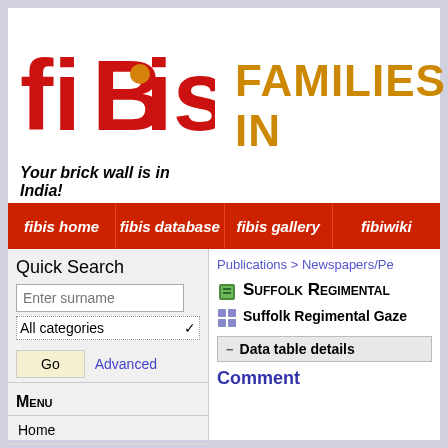[Figure (logo): FIBIS logo in red with tagline 'Your brick wall is in India!' and 'FAMILIES IN' text in orange]
fibis home | fibis database | fibis gallery | fibiwiki
Quick Search
Enter surname
All categories
Go | Advanced
Menu
Home
FIBIS Membership
Publications > Newspapers/Pe
Suffolk Regimental
Suffolk Regimental Gaze
Data table details
Comment